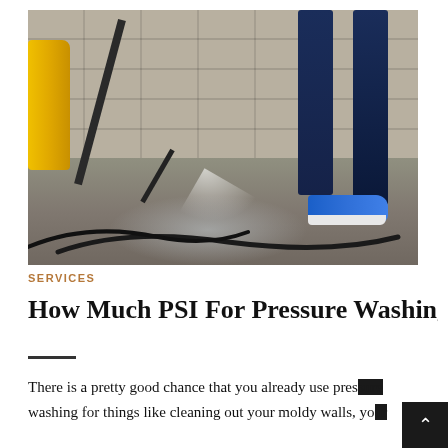[Figure (photo): Person using a yellow pressure washer to clean a concrete driveway against a stone wall. The person wears blue jeans and blue sneakers. A black hose lies on the wet concrete ground. Water spray is visible from the wand tip.]
SERVICES
How Much PSI For Pressure Washing a Hide
There is a pretty good chance that you already use pressure washing for things like cleaning out your moldy walls, yo